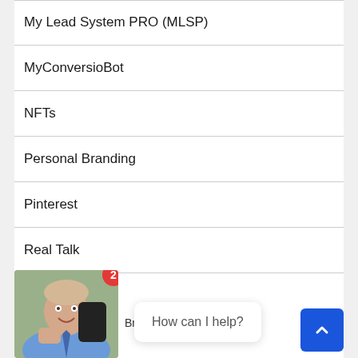My Lead System PRO (MLSP)
MyConversioBot
NFTs
Personal Branding
Pinterest
Real Talk
[Figure (screenshot): Chat widget overlay showing a person's photo thumbnail with a red badge showing '2', a speech bubble saying 'How can I help?', and a blue scroll-to-top button with an upward arrow.]